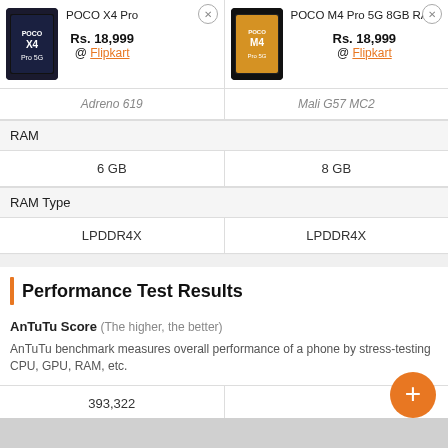[Figure (screenshot): Product comparison page showing POCO X4 Pro and POCO M4 Pro 5G 8GB RAM smartphones with prices Rs. 18,999 each at Flipkart, RAM specs, RAM Type, and AnTuTu performance results.]
| POCO X4 Pro | POCO M4 Pro 5G 8GB RAM |
| --- | --- |
| Adreno 619 | Mali G57 MC2 |
| 6 GB | 8 GB |
| LPDDR4X | LPDDR4X |
| 393,322 |  |
Performance Test Results
AnTuTu Score (The higher, the better)
AnTuTu benchmark measures overall performance of a phone by stress-testing CPU, GPU, RAM, etc.